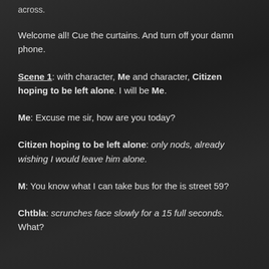across.
Welcome all! Cue the curtains. And turn off your damn phone.
Scene 1: with character, Me and character, Citizen hoping to be left alone. I will be Me.
Me: Excuse me sir, how are you today?
Citizen hoping to be left alone: only nods, already wishing I would leave him alone.
M: You know what I can take bus for the is street 59?
Chtbla: scrunches face slowly for a 15 full seconds. What?